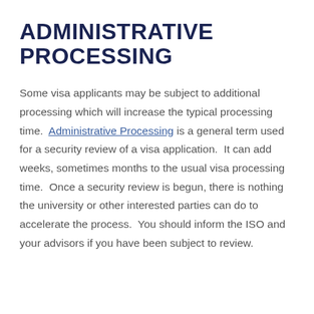ADMINISTRATIVE PROCESSING
Some visa applicants may be subject to additional processing which will increase the typical processing time. Administrative Processing is a general term used for a security review of a visa application. It can add weeks, sometimes months to the usual visa processing time. Once a security review is begun, there is nothing the university or other interested parties can do to accelerate the process. You should inform the ISO and your advisors if you have been subject to review.